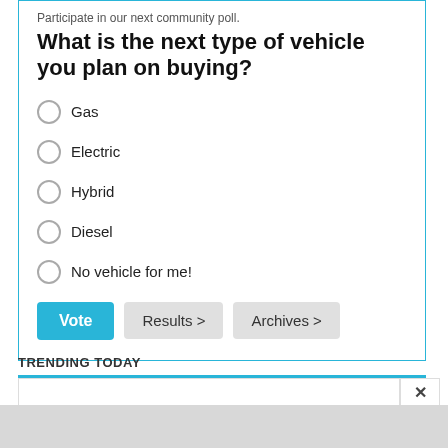Participate in our next community poll.
What is the next type of vehicle you plan on buying?
Gas
Electric
Hybrid
Diesel
No vehicle for me!
Vote | Results > | Archives >
TRENDING TODAY